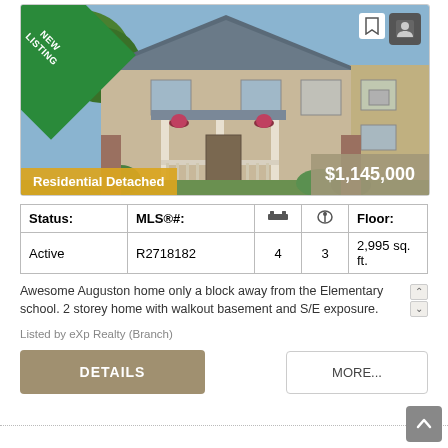[Figure (photo): Residential detached house with craftsman style, front porch with hanging flower baskets, beige and brown siding, green landscaping. NEW LISTING banner in top-left corner. Price $1,145,000 overlay bottom-right. Residential Detached label bottom-left.]
| Status: | MLS®#: | 🛏 | 🚿 | Floor: |
| --- | --- | --- | --- | --- |
| Active | R2718182 | 4 | 3 | 2,995 sq. ft. |
Awesome Auguston home only a block away from the Elementary school. 2 storey home with walkout basement and S/E exposure.
Listed by eXp Realty (Branch)
DETAILS
MORE...